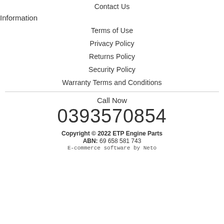Contact Us
Information
Terms of Use
Privacy Policy
Returns Policy
Security Policy
Warranty Terms and Conditions
Call Now
0393570854
Copyright © 2022 ETP Engine Parts
ABN: 69 658 581 743
E-commerce software by Neto